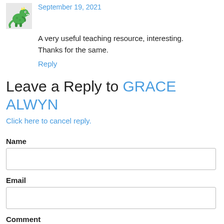September 19, 2021
A very useful teaching resource, interesting. Thanks for the same.
Reply
Leave a Reply to GRACE ALWYN
Click here to cancel reply.
Name
Email
Comment